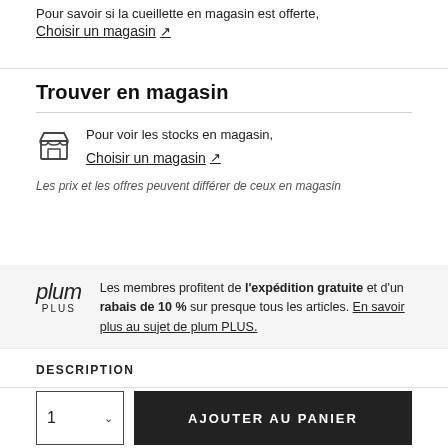Pour savoir si la cueillette en magasin est offerte,
Choisir un magasin ↗
Trouver en magasin
Pour voir les stocks en magasin, Choisir un magasin ↗
Les prix et les offres peuvent différer de ceux en magasin
plum PLUS — Les membres profitent de l'expédition gratuite et d'un rabais de 10 % sur presque tous les articles. En savoir plus au sujet de plum PLUS.
DESCRIPTION
A charming and thoughtful picture book about generosity
1  AJOUTER AU PANIER